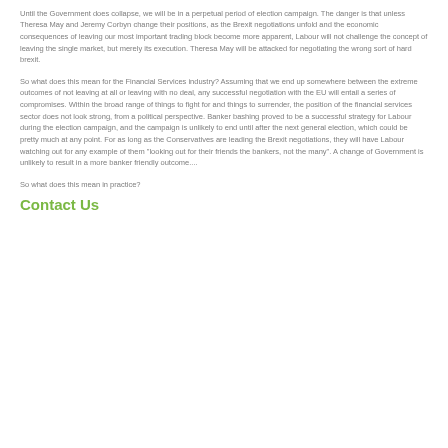means Brexit  and  Brexit for the many not the few ..
Until the Government does collapse, we will be in a perpetual period of election campaign. The danger is that unless Theresa May and Jeremy Corbyn change their positions, as the Brexit negotiations unfold and the economic consequences of leaving our most important trading block become more apparent, Labour will not challenge the concept of leaving the single market, but merely its execution. Theresa May will be attacked for negotiating the wrong sort of hard brexit.
So what does this mean for the Financial Services industry? Assuming that we end up somewhere between the extreme outcomes of not leaving at all or leaving with no deal, any successful negotiation with the EU will entail a series of compromises. Within the broad range of things to fight for and things to surrender, the position of the financial services sector does not look strong, from a political perspective. Banker bashing proved to be a successful strategy for Labour during the election campaign, and the campaign is unlikely to end until after the next general election, which could be pretty much at any point. For as long as the Conservatives are leading the Brexit negotiations, they will have Labour watching out for any example of them "looking out for their friends the bankers, not the many".  A change of Government is unlikely to result in a more banker friendly outcome....
So what does this mean in practice?
Contact Us